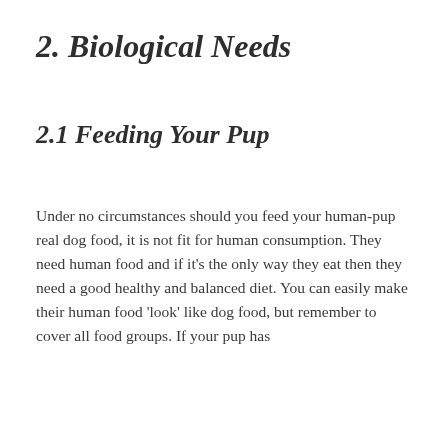2. Biological Needs
2.1 Feeding Your Pup
Under no circumstances should you feed your human-pup real dog food, it is not fit for human consumption. They need human food and if it’s the only way they eat then they need a good healthy and balanced diet. You can easily make their human food ‘look’ like dog food, but remember to cover all food groups. If your pup has